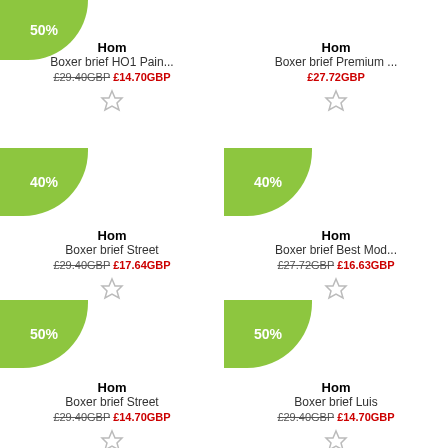[Figure (infographic): Product listing grid with discount badges showing Hom boxer briefs with crossed-out original prices and red sale prices]
Hom
Boxer brief HO1 Pain...
£29.40GBP £14.70GBP
Hom
Boxer brief Premium ...
£27.72GBP
Hom
Boxer brief Street
£29.40GBP £17.64GBP
Hom
Boxer brief Best Mod...
£27.72GBP £16.63GBP
Hom
Boxer brief Street
£29.40GBP £14.70GBP
Hom
Boxer brief Luis
£29.40GBP £14.70GBP